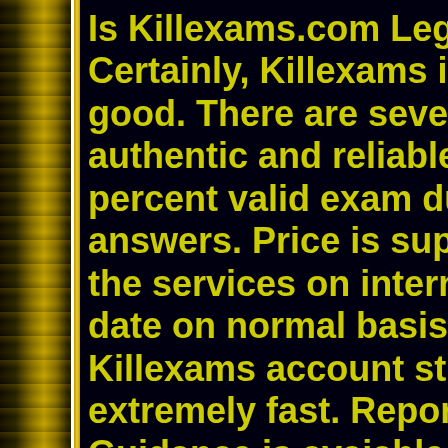Is Killexams.com Legit?
Certainly, Killexams is hundreds percent good. There are several includ authentic and reliable. It prov percent valid exam dumps cor answers. Price is suprisingly lo the services on internet. The q date on normal basis through Killexams account structure a extremely fast. Report downlo Guidance is avaiable via Livec the characteristics that makes that provide exam dumps with
Killilid d l l d i